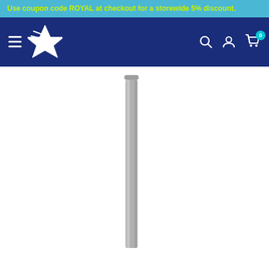Use coupon code ROYAL at checkout for a storewide 5% discount.
[Figure (screenshot): Website navigation bar with hamburger menu icon, star logo on dark blue background, and search, account, and cart icons on the right with a '0' badge on the cart.]
[Figure (photo): Product photo of a long, thin gray metal or plastic pole/rod on a white background.]